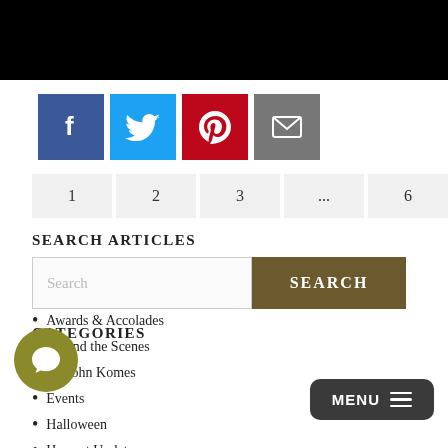[Figure (screenshot): Black header bar at top of page]
[Figure (infographic): Social sharing icons: Facebook (blue), Twitter (light blue), Pinterest (red), Email (gray)]
1  2  3  ...  6  Next »
SEARCH ARTICLES
Search [input field] SEARCH [button]
CATEGORIES
Awards & Accolades
Behind the Scenes
By John Komes
Events
Halloween
Harvest Updates